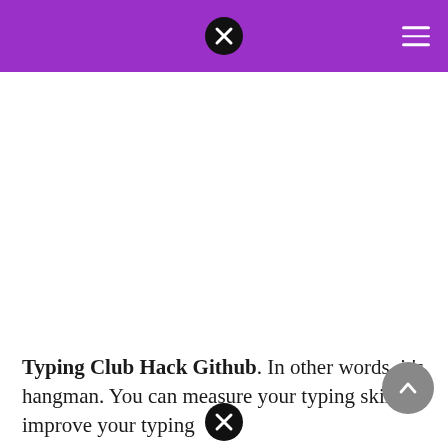Typing Club Hack Github. In other words, it's hangman. You can measure your typing skills, improve your typing…